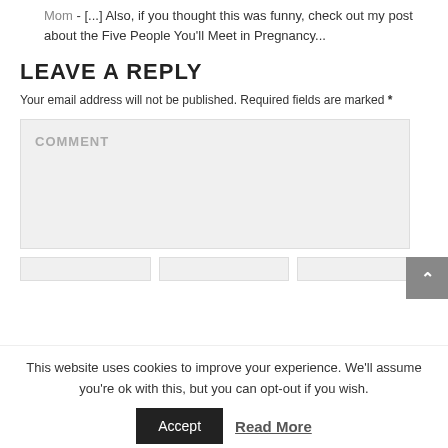Mom - [...] Also, if you thought this was funny, check out my post about the Five People You'll Meet in Pregnancy...
LEAVE A REPLY
Your email address will not be published. Required fields are marked *
[Figure (other): Comment text area input box with placeholder text COMMENT]
This website uses cookies to improve your experience. We'll assume you're ok with this, but you can opt-out if you wish.
Accept  Read More